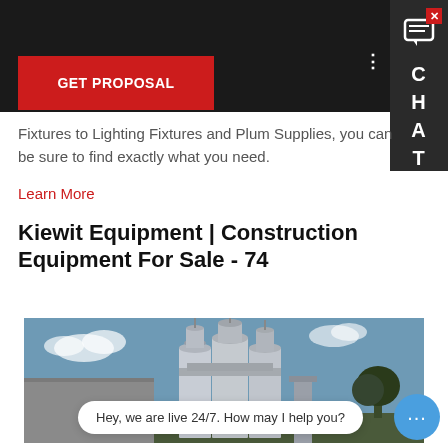[Figure (screenshot): Website screenshot with dark top navigation bar, GET PROPOSAL red button, and CHAT sidebar panel on the right]
Fixtures to Lighting Fixtures and Plum Supplies, you can be sure to find exactly what you need.
Learn More
Kiewit Equipment | Construction Equipment For Sale - 74
[Figure (photo): Industrial construction site photo showing large silo/cement plant structures against a blue sky background]
Hey, we are live 24/7. How may I help you?